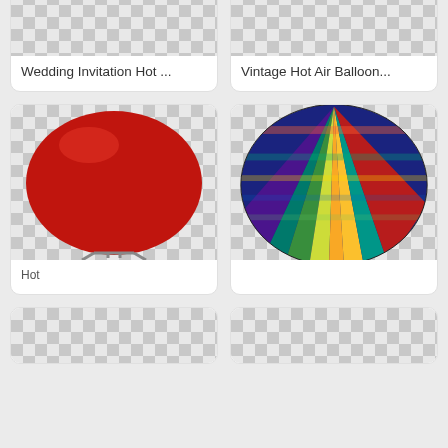[Figure (screenshot): Grid of image cards on a stock photo / PNG resource website (TopPNG). Top row shows two cards: 'Wedding Invitation Hot ...' and 'Vintage Hot Air Balloon...' with checkerboard transparent backgrounds. Middle row shows a red hot air balloon (cropped, on checkerboard) and a colorful striped hot air balloon photo. A cookie consent banner overlays the bottom portion with text 'TopPNG uses cookies to ensure you get the best experience on our website. Learn more' and buttons 'Decline' and 'OK, i'm agree :)'.]